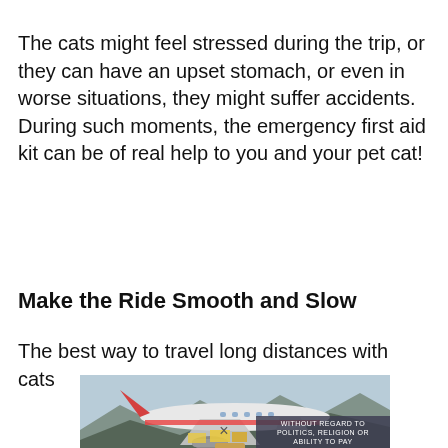The cats might feel stressed during the trip, or they can have an upset stomach, or even in worse situations, they might suffer accidents. During such moments, the emergency first aid kit can be of real help to you and your pet cat!
Make the Ride Smooth and Slow
The best way to travel long distances with cats
[Figure (photo): Advertisement banner showing an airplane being loaded with cargo, with text overlay reading 'WITHOUT REGARD TO POLITICS, RELIGION OR ABILITY TO PAY']
×